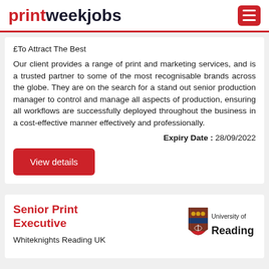printweekjobs
£To Attract The Best
Our client provides a range of print and marketing services, and is a trusted partner to some of the most recognisable brands across the globe. They are on the search for a stand out senior production manager to control and manage all aspects of production, ensuring all workflows are successfully deployed throughout the business in a cost-effective manner effectively and professionally.
Expiry Date : 28/09/2022
View details
Senior Print Executive
Whiteknights Reading UK
[Figure (logo): University of Reading shield logo with text 'University of Reading']